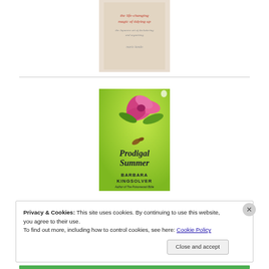[Figure (photo): Partial book cover of 'The Life-Changing Magic of Tidying Up' by Marie Kondo, showing title text on a light background]
[Figure (photo): Book cover of 'Prodigal Summer' by Barbara Kingsolver, featuring a bright green background with a pink flower and a hummingbird, author text at bottom reading 'Author of The Poisonwood Bible']
Privacy & Cookies: This site uses cookies. By continuing to use this website, you agree to their use.
To find out more, including how to control cookies, see here: Cookie Policy
Close and accept